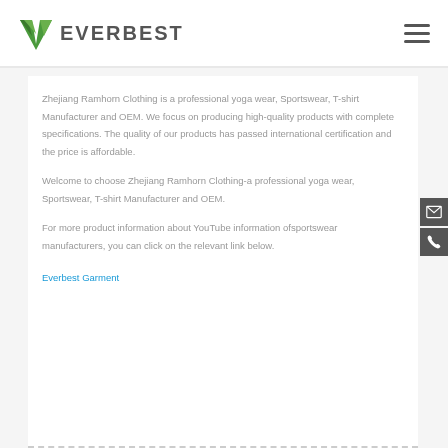[Figure (logo): Everbest logo with green V-check mark and bold text EVERBEST]
Zhejiang Ramhorn Clothing is a professional yoga wear, Sportswear, T-shirt Manufacturer and OEM. We focus on producing high-quality products with complete specifications. The quality of our products has passed international certification and the price is affordable.
Welcome to choose Zhejiang Ramhorn Clothing-a professional yoga wear, Sportswear, T-shirt Manufacturer and OEM.
For more product information about YouTube information ofsportswear manufacturers, you can click on the relevant link below.
Everbest Garment